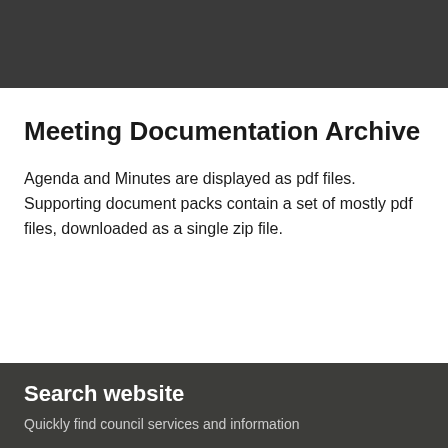[Figure (other): Dark grey header banner background at top of page]
Meeting Documentation Archive
Agenda and Minutes are displayed as pdf files. Supporting document packs contain a set of mostly pdf files, downloaded as a single zip file.
Search website
Quickly find council services and information